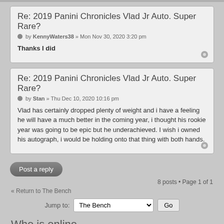Re: 2019 Panini Chronicles Vlad Jr Auto. Super Rare?
by KennyWaters38 » Mon Nov 30, 2020 3:20 pm
Thanks I did
Re: 2019 Panini Chronicles Vlad Jr Auto. Super Rare?
by Stan » Thu Dec 10, 2020 10:16 pm
Vlad has certainly dropped plenty of weight and i have a feeling he will have a much better in the coming year, i thought his rookie year was going to be epic but he underachieved. I wish i owned his autograph, i would be holding onto that thing with both hands.
Post a reply
8 posts • Page 1 of 1
« Return to The Bench
Jump to: The Bench Go
Who is online